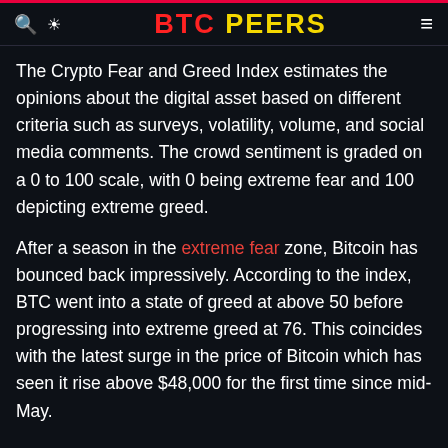BTC PEERS
The Crypto Fear and Greed Index estimates the opinions about the digital asset based on different criteria such as surveys, volatility, volume, and social media comments. The crowd sentiment is graded on a 0 to 100 scale, with 0 being extreme fear and 100 depicting extreme greed.
After a season in the extreme fear zone, Bitcoin has bounced back impressively. According to the index, BTC went into a state of greed at above 50 before progressing into extreme greed at 76. This coincides with the latest surge in the price of Bitcoin which has seen it rise above $48,000 for the first time since mid-May.